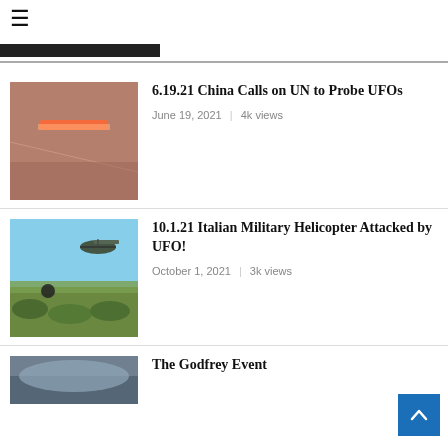≡
[Figure (screenshot): Navigation bar with dark background section and gray horizontal line]
[Figure (photo): Blurry indoor photo showing a bright streak of light against curtains]
6.19.21 China Calls on UN to Probe UFOs
June 19, 2021 | 4k views
[Figure (photo): Outdoor desert scene with a military helicopter in the sky and a dark spherical object visible near scrubby vegetation]
10.1.21 Italian Military Helicopter Attacked by UFO!
October 1, 2021 | 3k views
[Figure (photo): Partial view of an outdoor scene, partially cropped at the bottom of the page]
The Godfrey Event